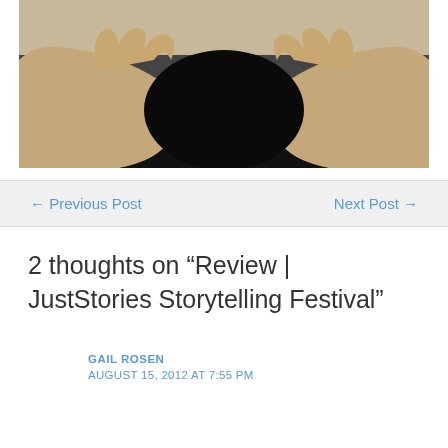[Figure (photo): Partial photo of a person with hands raised, wearing a dark shirt, with beige/cream background visible at top]
← Previous Post
Next Post →
2 thoughts on “Review | JustStories Storytelling Festival”
GAIL ROSEN
AUGUST 15, 2012 AT 7:55 PM